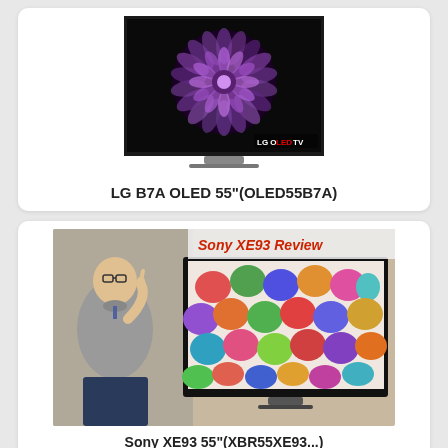[Figure (photo): LG OLED TV product photo showing a purple chrysanthemum flower on a dark background. The TV is on a stand with the LG OLED TV logo visible.]
LG B7A OLED 55"(OLED55B7A)
[Figure (photo): Sony XE93 Review - a man in grey shirt points at a Sony TV displaying colorful umbrella photo. Text 'Sony XE93 Review' in red at top.]
Sony XE93 55"(XBR55XE93...)